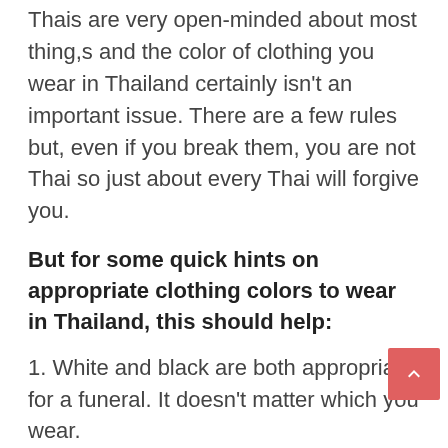Thais are very open-minded about most thing,s and the color of clothing you wear in Thailand certainly isn't an important issue. There are a few rules but, even if you break them, you are not Thai so just about every Thai will forgive you.
But for some quick hints on appropriate clothing colors to wear in Thailand, this should help:
1. White and black are both appropriate for a funeral. It doesn't matter which you wear.
2. Don't wear black to a wedding. It is deemed to send bad luck to the happy couple.